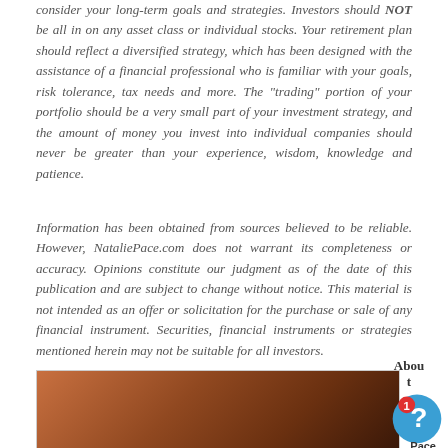consider your long-term goals and strategies. Investors should NOT be all in on any asset class or individual stocks. Your retirement plan should reflect a diversified strategy, which has been designed with the assistance of a financial professional who is familiar with your goals, risk tolerance, tax needs and more. The "trading" portion of your portfolio should be a very small part of your investment strategy, and the amount of money you invest into individual companies should never be greater than your experience, wisdom, knowledge and patience.
Information has been obtained from sources believed to be reliable. However, NataliePace.com does not warrant its completeness or accuracy. Opinions constitute our judgment as of the date of this publication and are subject to change without notice. This material is not intended as an offer or solicitation for the purchase or sale of any financial instrument. Securities, financial instruments or strategies mentioned herein may not be suitable for all investors.
[Figure (photo): Photo of a blonde woman, partially visible, appears to be in an indoor setting with warm lighting]
About Pace